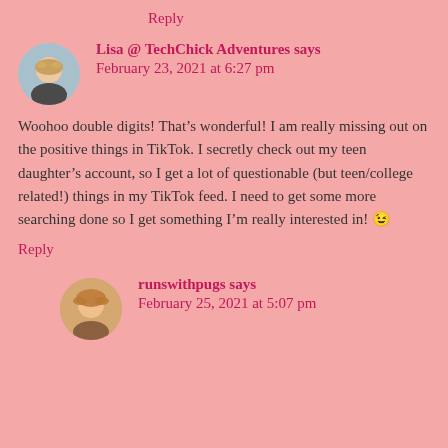Reply
Lisa @ TechChick Adventures says
February 23, 2021 at 6:27 pm
Woohoo double digits! That’s wonderful! I am really missing out on the positive things in TikTok. I secretly check out my teen daughter’s account, so I get a lot of questionable (but teen/college related!) things in my TikTok feed. I need to get some more searching done so I get something I’m really interested in! 😉
Reply
runswithpugs says
February 25, 2021 at 5:07 pm